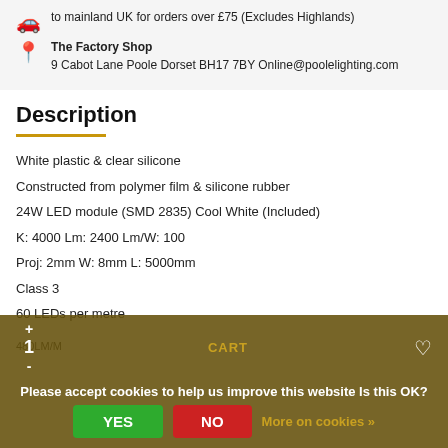to mainland UK for orders over £75 (Excludes Highlands)
The Factory Shop
9 Cabot Lane Poole Dorset BH17 7BY Online@poolelighting.com
Description
White plastic & clear silicone
Constructed from polymer film & silicone rubber
24W LED module (SMD 2835) Cool White (Included)
K: 4000 Lm: 2400 Lm/W: 100
Proj: 2mm W: 8mm L: 5000mm
Class 3
60 LEDs per metre
Please accept cookies to help us improve this website Is this OK?